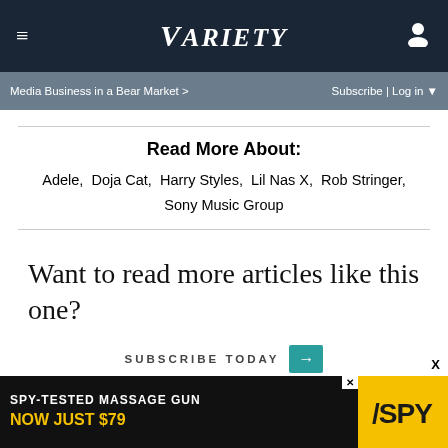≡  VARIETY  👤
Media Business in a Bear Market >    Subscribe | Log in ▼
Read More About:
Adele,  Doja Cat,  Harry Styles,  Lil Nas X,  Rob Stringer,  Sony Music Group
Want to read more articles like this one?
SUBSCRIBE TODAY →
[Figure (advertisement): SPY-TESTED MASSAGE GUN NOW JUST $79 advertisement banner with SPY logo on yellow background]